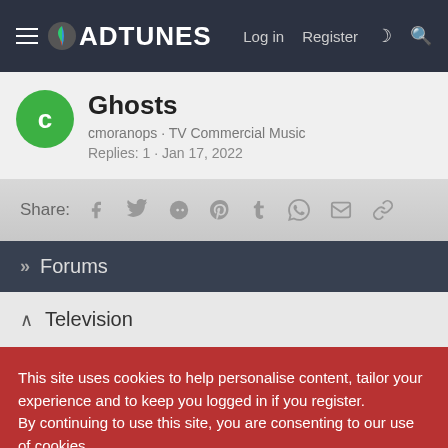ADTUNES — Log in  Register
Ghosts
cmoranops · TV Commercial Music
Replies: 1 · Jan 17, 2022
Share:
» Forums
^ Television
This site uses cookies to help personalise content, tailor your experience and to keep you logged in if you register.
By continuing to use this site, you are consenting to our use of cookies.